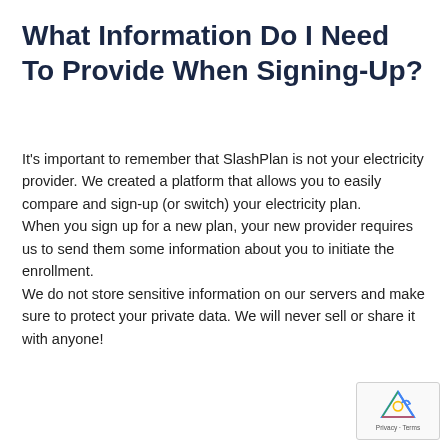What Information Do I Need To Provide When Signing-Up?
It's important to remember that SlashPlan is not your electricity provider. We created a platform that allows you to easily compare and sign-up (or switch) your electricity plan.
When you sign up for a new plan, your new provider requires us to send them some information about you to initiate the enrollment.
We do not store sensitive information on our servers and make sure to protect your private data. We will never sell or share it with anyone!